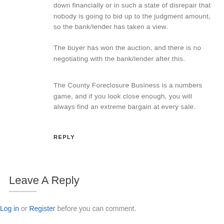down financially or in such a state of disrepair that nobody is going to bid up to the judgment amount, so the bank/lender has taken a view.
The buyer has won the auction, and there is no negotiating with the bank/lender after this.
The County Foreclosure Business is a numbers game, and if you look close enough, you will always find an extreme bargain at every sale.
REPLY
Leave A Reply
Log in or Register before you can comment.